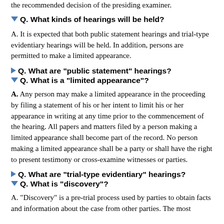the recommended decision of the presiding examiner.
Q. What kinds of hearings will be held?
A. It is expected that both public statement hearings and trial-type evidentiary hearings will be held. In addition, persons are permitted to make a limited appearance.
Q. What are "public statement" hearings?
Q. What is a "limited appearance"?
A. Any person may make a limited appearance in the proceeding by filing a statement of his or her intent to limit his or her appearance in writing at any time prior to the commencement of the hearing. All papers and matters filed by a person making a limited appearance shall become part of the record. No person making a limited appearance shall be a party or shall have the right to present testimony or cross-examine witnesses or parties.
Q. What are "trial-type evidentiary" hearings?
Q. What is "discovery"?
A. "Discovery" is a pre-trial process used by parties to obtain facts and information about the case from other parties. The most